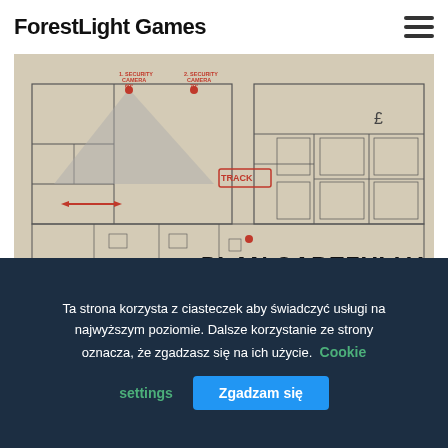ForestLight Games
[Figure (illustration): Floor plan / building blueprint with security camera annotations, a triangle showing camera FOV, red dot markers, a 'TRACK' label, a red arrow, and large italic text 'PLAN CAREFULLY' in the bottom right area.]
Each attack must be planned carefully. Check the surroundings,
Ta strona korzysta z ciasteczek aby świadczyć usługi na najwyższym poziomie. Dalsze korzystanie ze strony oznacza, że zgadzasz się na ich użycie. Cookie settings  Zgadzam się